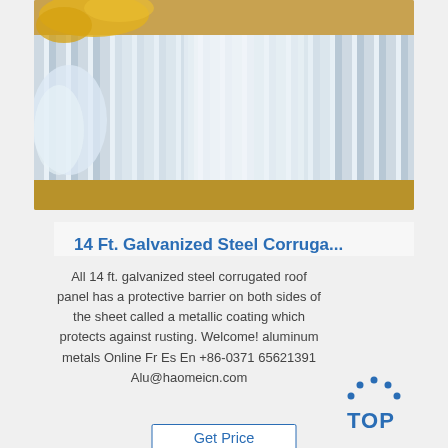[Figure (photo): Photo of galvanized steel corrugated roof panels stacked horizontally, showing metallic silver ribbed surface with wooden framing visible, and yellow ribbons/ties and white plastic wrapping at top left]
14 Ft. Galvanized Steel Corruga...
All 14 ft. galvanized steel corrugated roof panel has a protective barrier on both sides of the sheet called a metallic coating which protects against rusting. Welcome! aluminum metals Online Fr Es En +86-0371 65621391 Alu@haomeicn.com
[Figure (logo): TOP badge logo — blue dots arranged in an arc above the word TOP in blue letters]
Get Price